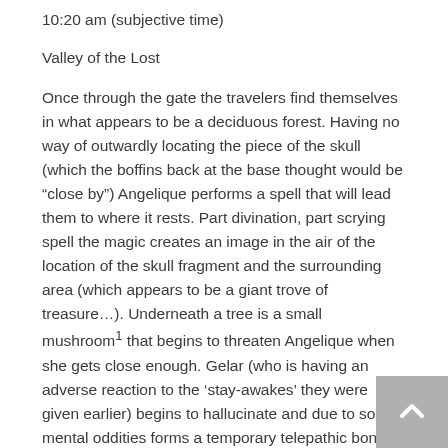10:20 am (subjective time)
Valley of the Lost
Once through the gate the travelers find themselves in what appears to be a deciduous forest. Having no way of outwardly locating the piece of the skull (which the boffins back at the base thought would be “close by”) Angelique performs a spell that will lead them to where it rests. Part divination, part scrying spell the magic creates an image in the air of the location of the skull fragment and the surrounding area (which appears to be a giant trove of treasure…). Underneath a tree is a small mushroom¹ that begins to threaten Angelique when she gets close enough. Gelar (who is having an adverse reaction to the ‘stay-awakes’ they were given earlier) begins to hallucinate and due to some mental oddities forms a temporary telepathic bond with Angelique. This enables him to see the strange things she does (including Asher the Bunny, her imaginary friend). When she crushes the mushroom it screams and only the two of them can hear it, as it dies it threatens that its ‘big brothers are going to take care of them’. Later as they move through the woods a much larger mushroom appears and before it can threaten anyone Gelar stabs it with an orca and flicks it off into the distance. (Jonathan